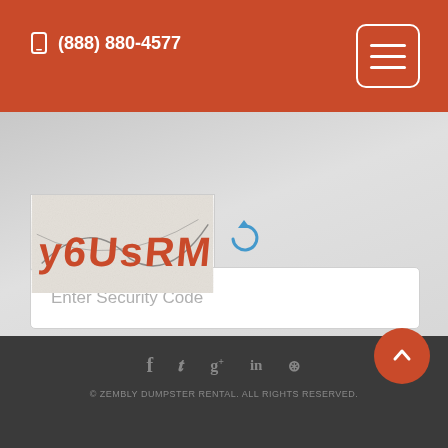(888) 880-4577
[Figure (screenshot): CAPTCHA image showing distorted text 'y6UsRM' in orange/red on white background with noise and scratch lines]
[Figure (other): Refresh/reload icon in blue next to CAPTCHA]
Enter Security Code
Request Quote
© ZEMBLY DUMPSTER RENTAL. ALL RIGHTS RESERVED.